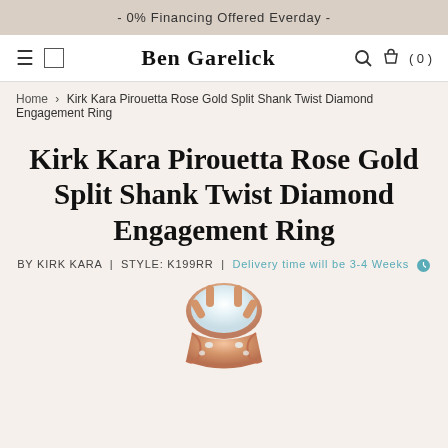- 0% Financing Offered Everday -
BEN GARELICK
Home › Kirk Kara Pirouetta Rose Gold Split Shank Twist Diamond Engagement Ring
Kirk Kara Pirouetta Rose Gold Split Shank Twist Diamond Engagement Ring
BY KIRK KARA | STYLE: K199RR | Delivery time will be 3-4 Weeks
[Figure (photo): Close-up photo of a rose gold split shank twist diamond engagement ring with a large round diamond center stone set in prongs, showing intricate twisted band detail]